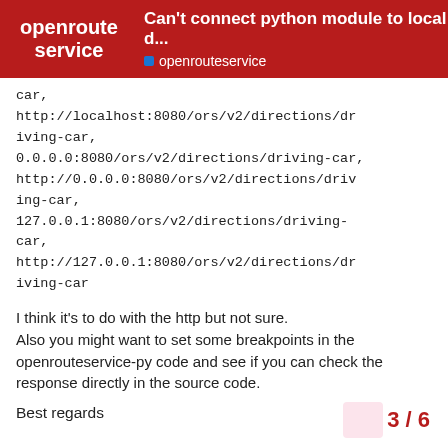Can't connect python module to local d... | openrouteservice
car,
http://localhost:8080/ors/v2/directions/driving-car,
0.0.0.0:8080/ors/v2/directions/driving-car,
http://0.0.0.0:8080/ors/v2/directions/driving-car,
127.0.0.1:8080/ors/v2/directions/driving-car,
http://127.0.0.1:8080/ors/v2/directions/driving-car
I think it's to do with the http but not sure.
Also you might want to set some breakpoints in the openrouteservice-py code and see if you can check the response directly in the source code.
Best regards
3 / 6